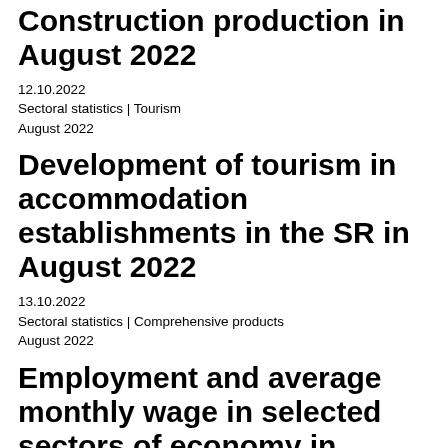Construction production in August 2022
12.10.2022
Sectoral statistics | Tourism
August 2022
Development of tourism in accommodation establishments in the SR in August 2022
13.10.2022
Sectoral statistics | Comprehensive products
August 2022
Employment and average monthly wage in selected sectors of economy in August...